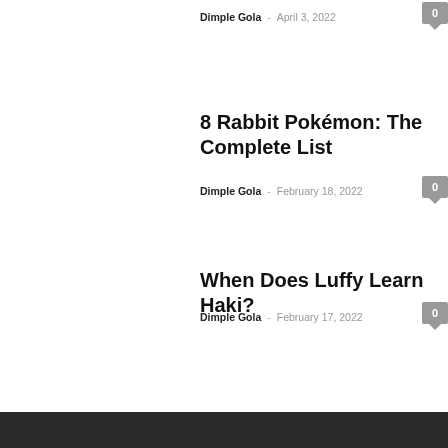Dimple Gola - April 3, 2022
8 Rabbit Pokémon: The Complete List
Dimple Gola - February 18, 2022
When Does Luffy Learn Haki?
Dimple Gola - February 17, 2022